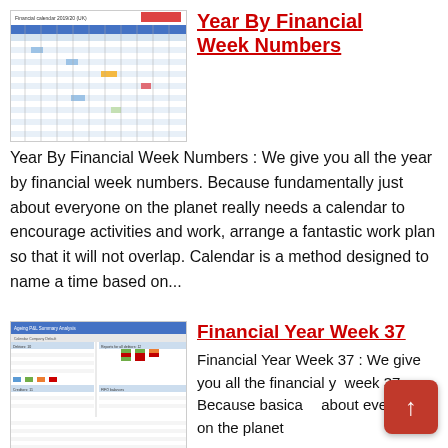[Figure (screenshot): Financial calendar 2019/20 spreadsheet thumbnail showing a multi-month grid calendar with blue and white cells]
Year By Financial Week Numbers
Year By Financial Week Numbers : We give you all the year by financial week numbers. Because fundamentally just about everyone on the planet really needs a calendar to encourage activities and work, arrange a fantastic work plan so that it will not overlap. Calendar is a method designed to name a time based on...
[Figure (screenshot): Financial Year Week 37 report/spreadsheet thumbnail showing tables with financial data, colored rows and columns]
Financial Year Week 37
Financial Year Week 37 : We give you all the financial year week 37. Because basically about everyone on the planet